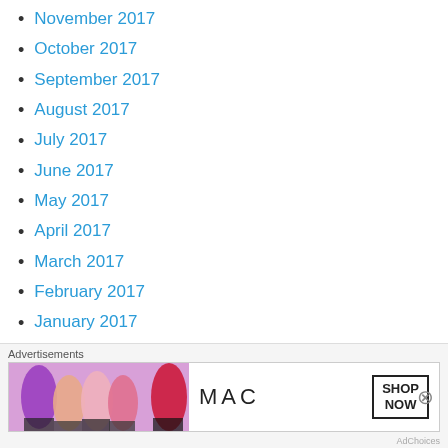November 2017
October 2017
September 2017
August 2017
July 2017
June 2017
May 2017
April 2017
March 2017
February 2017
January 2017
December 2016
November 2016
[Figure (other): MAC cosmetics advertisement banner showing lipsticks with 'SHOP NOW' button]